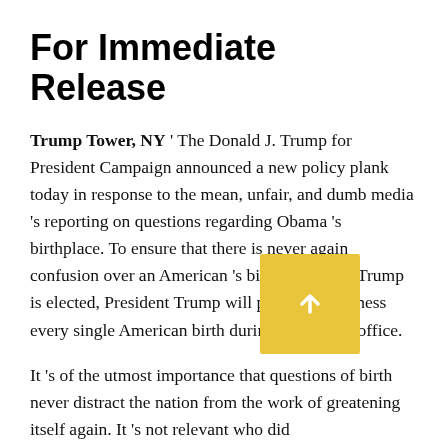For Immediate Release
Trump Tower, NY ' The Donald J. Trump for President Campaign announced a new policy plank today in response to the mean, unfair, and dumb media 's reporting on questions regarding Obama 's birthplace. To ensure that there is never again confusion over an American 's birthplace after Trump is elected, President Trump will personally witness every single American birth during his time in office.
It 's of the utmost importance that questions of birth never distract the nation from the work of greatening itself again. It 's not relevant who did